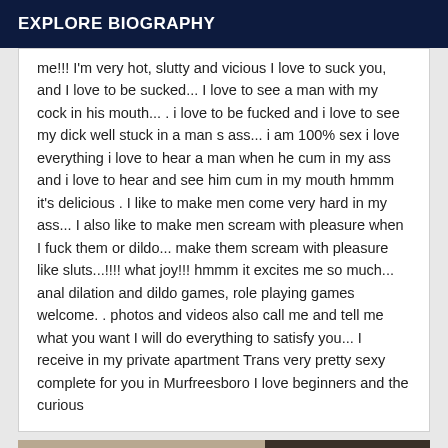EXPLORE BIOGRAPHY
me!!! I'm very hot, slutty and vicious I love to suck you, and I love to be sucked... I love to see a man with my cock in his mouth... . i love to be fucked and i love to see my dick well stuck in a man s ass... i am 100% sex i love everything i love to hear a man when he cum in my ass and i love to hear and see him cum in my mouth hmmm it's delicious . I like to make men come very hard in my ass... I also like to make men scream with pleasure when I fuck them or dildo... make them scream with pleasure like sluts...!!!! what joy!!! hmmm it excites me so much... anal dilation and dildo games, role playing games welcome. . photos and videos also call me and tell me what you want I will do everything to satisfy you... I receive in my private apartment Trans very pretty sexy complete for you in Murfreesboro I love beginners and the curious
[Figure (photo): Partially visible photograph at the bottom of the page with a 'Verified' badge in the lower right corner]